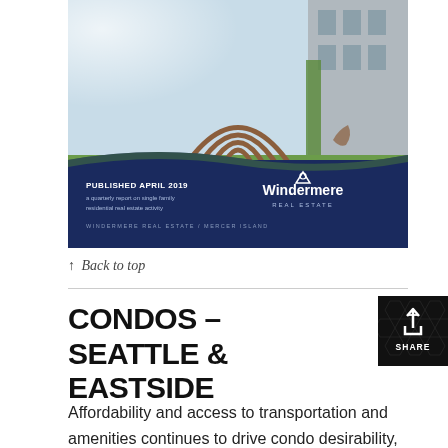[Figure (photo): Cover of a Windermere Real Estate quarterly report published April 2019, showing a metal arch sculpture in front of a residential building. The cover includes text: PUBLISHED APRIL 2019, a quarterly report on single family residential real estate activity, WINDERMERE REAL ESTATE / MERCER ISLAND, and the Windermere Real Estate logo on a dark navy background.]
↑ Back to top
CONDOS – SEATTLE & EASTSIDE
Affordability and access to transportation and amenities continues to drive condo desirability,